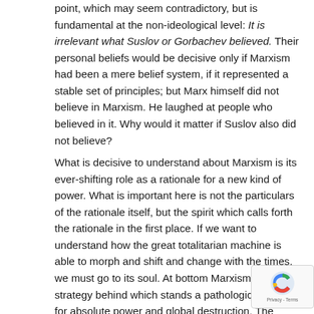point, which may seem contradictory, but is fundamental at the non-ideological level: It is irrelevant what Suslov or Gorbachev believed. Their personal beliefs would be decisive only if Marxism had been a mere belief system, if it represented a stable set of principles; but Marx himself did not believe in Marxism. He laughed at people who believed in it. Why would it matter if Suslov also did not believe?
What is decisive to understand about Marxism is its ever-shifting role as a rationale for a new kind of power. What is important here is not the particulars of the rationale itself, but the spirit which calls forth the rationale in the first place. If we want to understand how the great totalitarian machine is able to morph and shift and change with the times, we must go to its soul. At bottom Marxism is a strategy behind which stands a pathological desire for absolute power and global destruction. The outward phenomenon of Marxism is merely the intellectual camouflage of the politically self-actualized psychopath. Here is the outward expression of his rationalization for murder, for seizing power. This outward expression has changed time and time again, but its spiritual essence is always the same. And we always seem to miss the